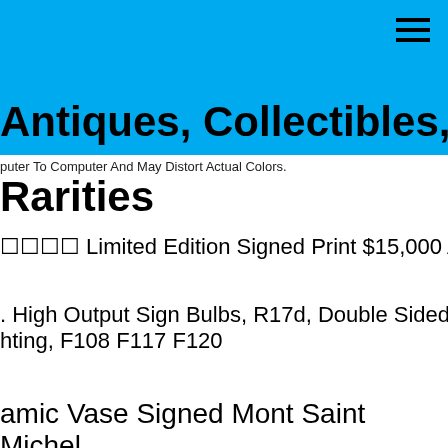Antiques, Collectibles, and Rarities
puter To Computer And May Distort Actual Colors.
Rarities
🔲🔲🔲🔲 Limited Edition Signed Print $15,000 Art Painting
. High Output Sign Bulbs, R17d, Double Sided, Signage hting, F108 F117 F120
amic Vase Signed Mont Saint Michel
i Soign,